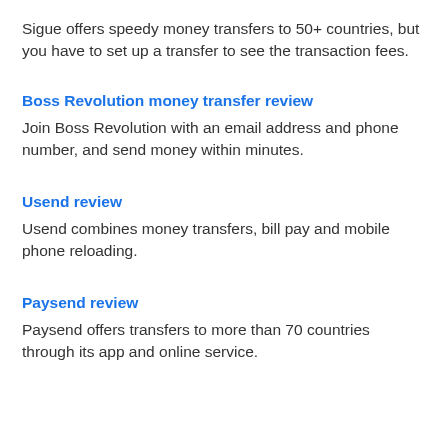Sigue offers speedy money transfers to 50+ countries, but you have to set up a transfer to see the transaction fees.
Boss Revolution money transfer review
Join Boss Revolution with an email address and phone number, and send money within minutes.
Usend review
Usend combines money transfers, bill pay and mobile phone reloading.
Paysend review
Paysend offers transfers to more than 70 countries through its app and online service.